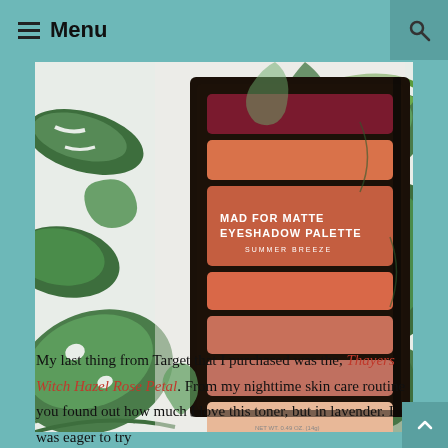≡ Menu
[Figure (photo): Photo of a Mad For Matte Eyeshadow Palette Summer Breeze on a tropical leaf patterned background. The palette shows 8 eyeshadow shades ranging from dark berry/maroon at top to peach/nude at bottom.]
My last thing from Target that I purchased was the, Thayers Witch Hazel Rose Petal. From my nighttime skin care routine you found out how much I love this toner, but in lavender. I was eager to try